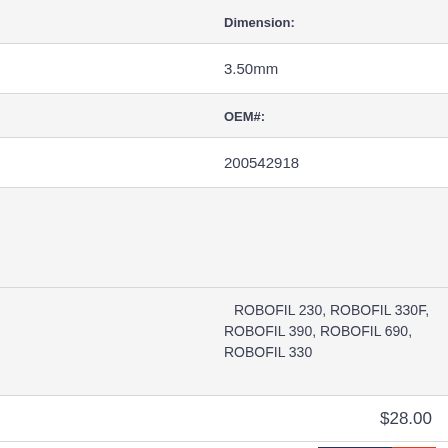Dimension:
3.50mm
OEM#:
200542918
ROBOFIL 230, ROBOFIL 330F, ROBOFIL 390, ROBOFIL 690, ROBOFIL 330
$28.00
VIEW →